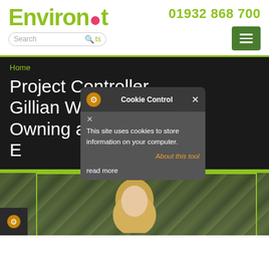[Figure (logo): Environet logo in green with pink/red dot on the 'e', with a search bar below]
01932 868 700
[Figure (other): Green menu/hamburger button]
Home
Project Controller Gillian Weston on Owning a Stake in Environet
[Figure (screenshot): Cookie Control popup dialog with gear icon, close buttons, cookie usage text, About this tool link, and read more link]
[Figure (photo): Partial photo of a blonde woman against green foliage background]